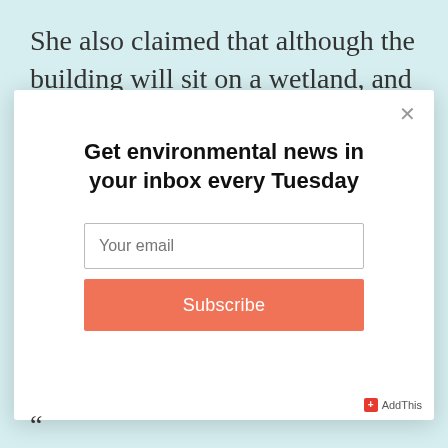She also claimed that although the building will sit on a wetland, and one
[Figure (screenshot): Modal popup overlay on a news article page with a newsletter subscription form. Contains a close (×) button, title 'Get environmental news in your inbox every Tuesday', an email input field with placeholder 'Your email', and an orange 'Subscribe' button. An AddThis badge is in the bottom right corner.]
"...